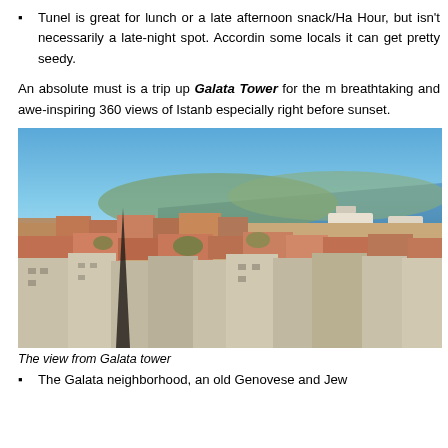Tunel is great for lunch or a late afternoon snack/Ha Hour, but isn't necessarily a late-night spot. According some locals it can get pretty seedy.
An absolute must is a trip up Galata Tower for the breathtaking and awe-inspiring 360 views of Istanb especially right before sunset.
[Figure (photo): Panoramic view of Istanbul from Galata Tower, showing orange-roofed buildings, the Bosphorus strait with ships, and hills in the background under a blue sky.]
The view from Galata tower
The Galata neighborhood, an old Genovese and Jew